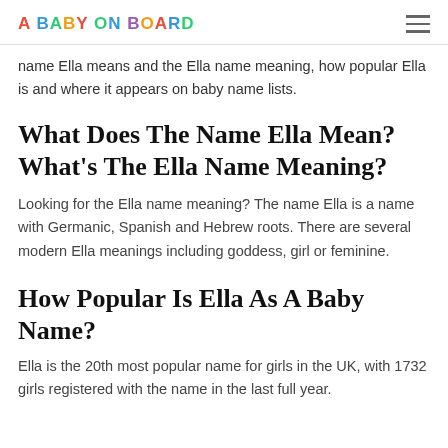A BABY ON BOARD
name Ella means and the Ella name meaning, how popular Ella is and where it appears on baby name lists.
What Does The Name Ella Mean? What's The Ella Name Meaning?
Looking for the Ella name meaning? The name Ella is a name with Germanic, Spanish and Hebrew roots. There are several modern Ella meanings including goddess, girl or feminine.
How Popular Is Ella As A Baby Name?
Ella is the 20th most popular name for girls in the UK, with 1732 girls registered with the name in the last full year.